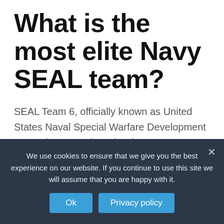What is the most elite Navy SEAL team?
SEAL Team 6, officially known as United States Naval Special Warfare Development Group (DEVGRU), and Delta Force, officially known as 1st Special Forces Operational Detachment-Delta (1st SFOD-D), are the most highly trained elite forces in the US military.Bahman 27, 1399 AP
We use cookies to ensure that we give you the best experience on our website. If you continue to use this site we will assume that you are happy with it.